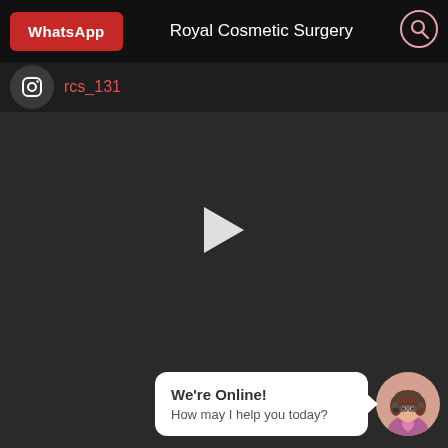[Figure (screenshot): WhatsApp button (red) in top navigation bar]
Royal Cosmetic Surgery
[Figure (screenshot): Instagram icon circle with partially visible red handle text 'rcs_131']
rcs_131
[Figure (screenshot): Dark video player area with white play button triangle in center]
We're Online!
How may I help you today?
[Figure (illustration): Customer service avatar: cartoon woman with glasses, holding a heart, in circular frame]